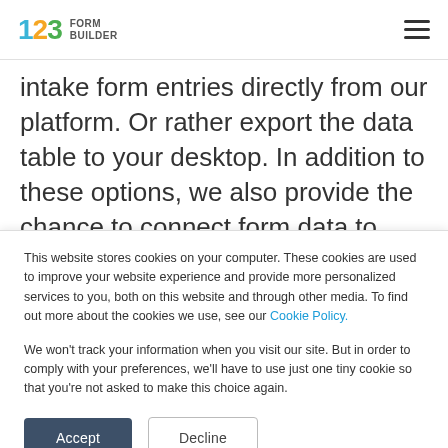123 FORM BUILDER
intake form entries directly from our platform. Or rather export the data table to your desktop. In addition to these options, we also provide the chance to connect form data to other applications for file management.
This website stores cookies on your computer. These cookies are used to improve your website experience and provide more personalized services to you, both on this website and through other media. To find out more about the cookies we use, see our Cookie Policy.
We won't track your information when you visit our site. But in order to comply with your preferences, we'll have to use just one tiny cookie so that you're not asked to make this choice again.
Accept | Decline